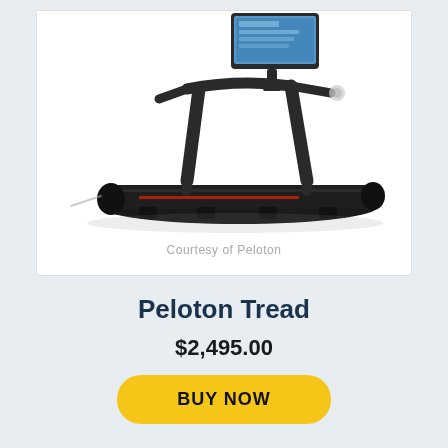[Figure (photo): Photo of a Peloton Tread treadmill with a large touchscreen display mounted on top, shown at a three-quarter angle against a white background.]
Courtesy of Peloton
Peloton Tread
$2,495.00
BUY NOW